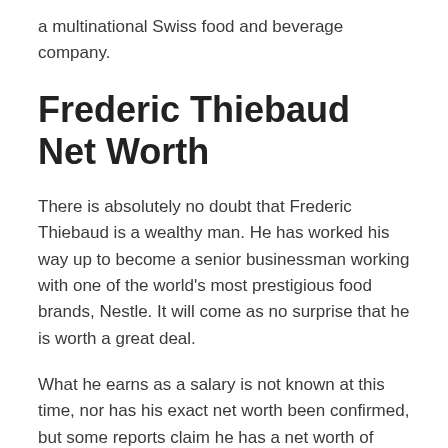a multinational Swiss food and beverage company.
Frederic Thiebaud Net Worth
There is absolutely no doubt that Frederic Thiebaud is a wealthy man. He has worked his way up to become a senior businessman working with one of the world's most prestigious food brands, Nestle. It will come as no surprise that he is worth a great deal.
What he earns as a salary is not known at this time, nor has his exact net worth been confirmed, but some reports claim he has a net worth of about $3.5 million.
Frederic Thiebaud's